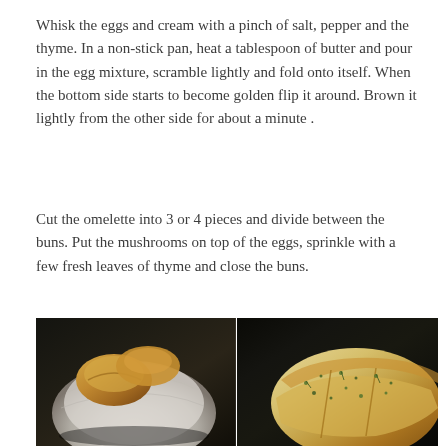Whisk the eggs and cream with a pinch of salt, pepper and the thyme. In a non-stick pan, heat a tablespoon of butter and pour in the egg mixture, scramble lightly and fold onto itself. When the bottom side starts to become golden flip it around. Brown it lightly from the other side for about a minute .
Cut the omelette into 3 or 4 pieces and divide between the buns. Put the mushrooms on top of the eggs, sprinkle with a few fresh leaves of thyme and close the buns.
[Figure (photo): Two food photos side by side: left shows toasted bread buns wrapped in a white linen napkin held in hands; right shows a golden-brown omelette topped with fresh thyme herbs, cut into pieces, in a dark pan.]